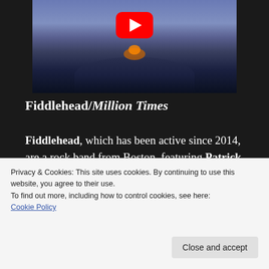[Figure (screenshot): YouTube video thumbnail showing a landscape scene with water puddles/reflections, mountains in background, and a YouTube play button (red rounded rectangle with white triangle) centered at the top]
Fiddlehead/Million Times
Fiddlehead, which has been active since 2014, are a rock band from Boston, featuring Patrick Flynn (vocals), Alex Henery (guitar), Alex Dow (guitar), Sean Nader (bass) and Shawn Scott
Privacy & Cookies: This site uses cookies. By continuing to use this website, you agree to their use.
To find out more, including how to control cookies, see here: Cookie Policy
Close and accept